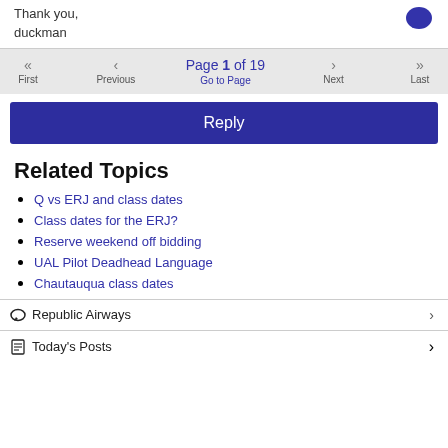Thank you,
duckman
Page 1 of 19
Go to Page
Reply
Related Topics
Q vs ERJ and class dates
Class dates for the ERJ?
Reserve weekend off bidding
UAL Pilot Deadhead Language
Chautauqua class dates
Republic Airways
Today's Posts